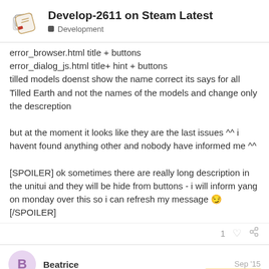Develop-2611 on Steam Latest — Development
error_browser.html title + buttons
error_dialog_js.html title+ hint + buttons
tilled models doenst show the name correct its says for all Tilled Earth and not the names of the models and change only the descreption

but at the moment it looks like they are the last issues ^^ i havent found anything other and nobody have informed me ^^

[SPOILER] ok sometimes there are really long description in the unitui and they will be hide from buttons - i will inform yang on monday over this so i can refresh my message 😏 [/SPOILER]
1 ♡ 🔗
Beatrice — Sep '15
Great, this way I won't report this again! G
7 / 34